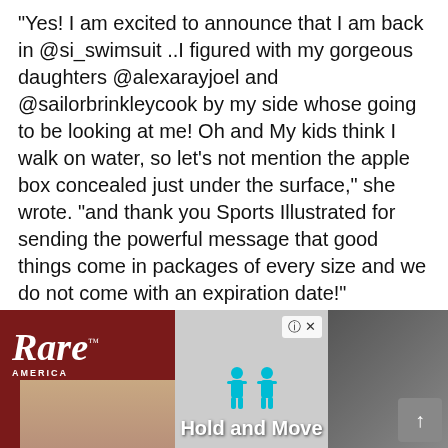“Yes! I am excited to announce that I am back in @si_swimsuit ..I figured with my gorgeous daughters @alexarayjoel and @sailorbrinkleycook by my side whose going to be looking at me! Oh and My kids think I walk on water, so let’s not mention the apple box concealed just under the surface,” she wrote. “and thank you Sports Illustrated for sending the powerful message that good things come in packages of every size and we do not come with an expiration date!”
Gorgeous!
[Figure (screenshot): Advertisement banner showing the Rare America logo on a dark red background on the left, an advertisement for 'Hold and Move' app with cyan figure icons in the center on a beige/gray background, and a partial image of a person on the right. A close/help button (? X) appears in the top right of the ad, and a scroll-up arrow button appears at the far right.]